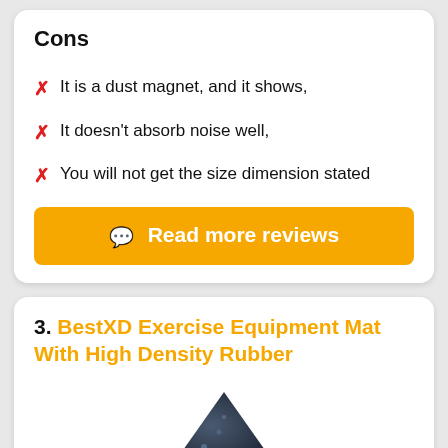Cons
It is a dust magnet, and it shows,
It doesn't absorb noise well,
You will not get the size dimension stated
Read more reviews
3. BestXD Exercise Equipment Mat With High Density Rubber
[Figure (photo): Product photo of BestXD Exercise Equipment Mat with high density rubber, showing a dark textured mat corner]